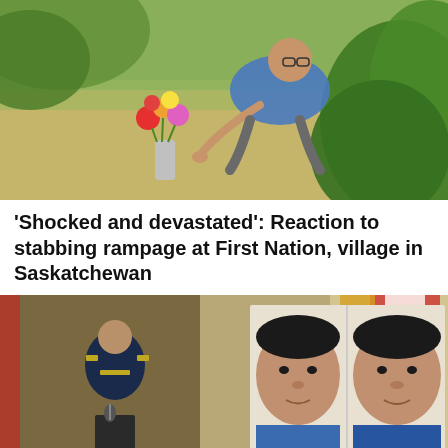[Figure (photo): A woman crouching on grass placing colourful flowers in a vase, with green leaves in the foreground, appearing to be at a memorial site.]
'Shocked and devastated': Reaction to stabbing rampage at First Nation, village in Saskatchewan
[Figure (photo): A police officer in uniform speaking at a podium with flags in the background, and a large board showing two mugshot photos of suspects side by side.]